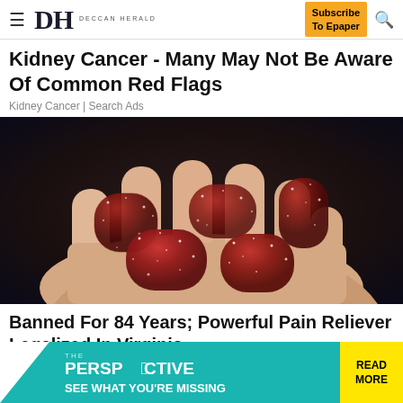DH DECCAN HERALD | Subscribe To Epaper
Kidney Cancer - Many May Not Be Aware Of Common Red Flags
Kidney Cancer | Search Ads
[Figure (photo): A hand holding several sugar-coated red/dark gummy candy pieces against a dark background]
Banned For 84 Years; Powerful Pain Reliever Legalized In Virginia...
[Figure (infographic): THE PERSPECTIVE advertisement banner with text SEE WHAT YOU'RE MISSING and READ MORE button in yellow]